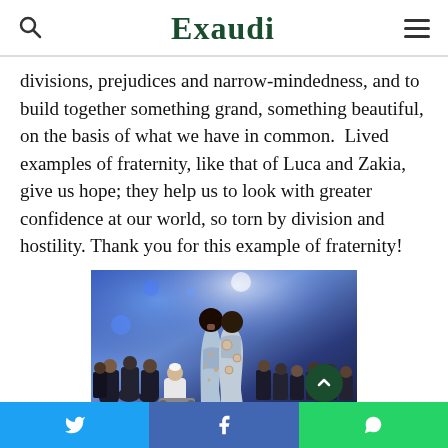Exaudi
divisions, prejudices and narrow-mindedness, and to build together something grand, something beautiful, on the basis of what we have in common.  Lived examples of fraternity, like that of Luca and Zakia, give us hope; they help us to look with greater confidence at our world, so torn by division and hostility. Thank you for this example of fraternity!
[Figure (photo): Two people standing with their backs to the camera on a stage with blue stage lighting, facing a seated audience including a figure in white (Pope Francis in a wheelchair). The couple appears to be Luca and Zakia in matching light blue/grey embroidered outfits. The audience includes many people in formal attire seated in a large venue.]
Twitter | Facebook | WhatsApp